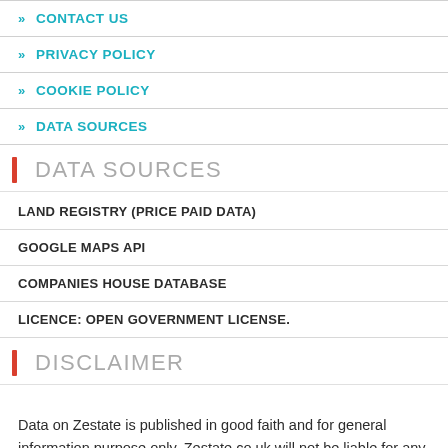» CONTACT US
» PRIVACY POLICY
» COOKIE POLICY
» DATA SOURCES
DATA SOURCES
LAND REGISTRY (PRICE PAID DATA)
GOOGLE MAPS API
COMPANIES HOUSE DATABASE
LICENCE: OPEN GOVERNMENT LICENSE.
DISCLAIMER
Data on Zestate is published in good faith and for general information purpose only. Zestate.co.uk will not be liable for any losses and/or damages in connection with the use of our